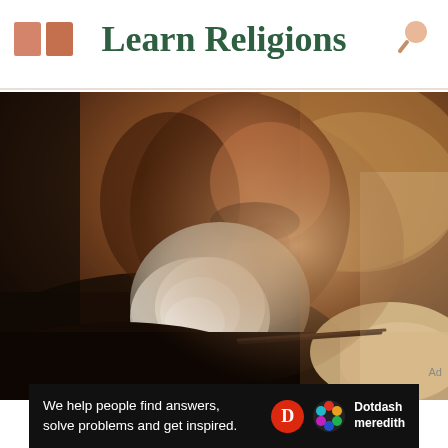Learn Religions
[Figure (illustration): Classical oil painting of an elderly bearded man with white beard, looking downward, wearing dark robes and holding a quill pen near a scroll or manuscript — suggesting a Biblical or religious scholar or evangelist figure.]
Ad
We help people find answers, solve problems and get inspired. Dotdash meredith